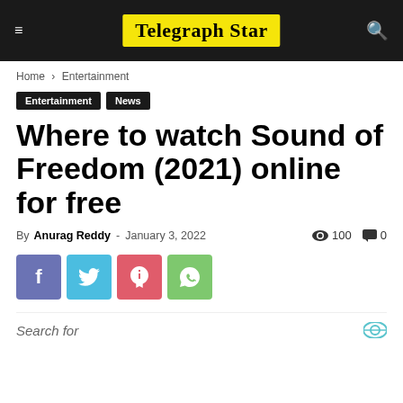Telegraph Star
Home › Entertainment
Entertainment  News
Where to watch Sound of Freedom (2021) online for free
By Anurag Reddy - January 3, 2022   100   0
[Figure (infographic): Social share buttons: Facebook, Twitter, Pinterest, WhatsApp]
Search for